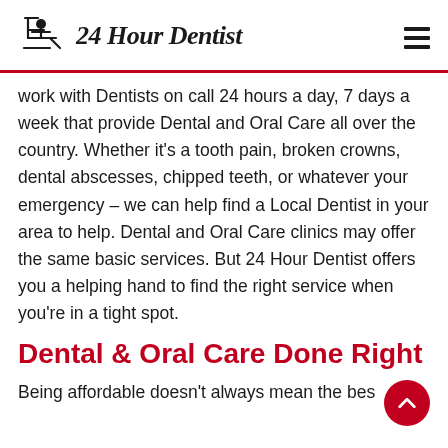24 Hour Dentist
work with Dentists on call 24 hours a day, 7 days a week that provide Dental and Oral Care all over the country. Whether it's a tooth pain, broken crowns, dental abscesses, chipped teeth, or whatever your emergency – we can help find a Local Dentist in your area to help. Dental and Oral Care clinics may offer the same basic services. But 24 Hour Dentist offers you a helping hand to find the right service when you're in a tight spot.
Dental & Oral Care Done Right
Being affordable doesn't always mean the best. Dental and Oral Care. So, if it's a tooth pain,